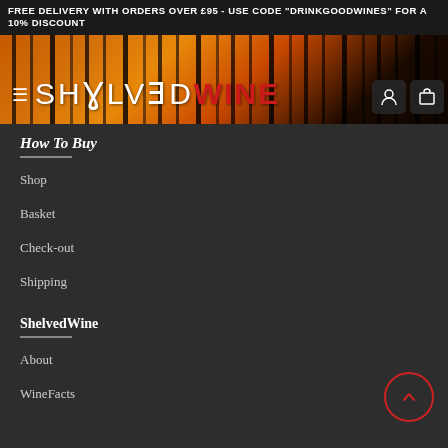FREE DELIVERY WITH ORDERS OVER £95 - USE CODE "DRINKGOODWINES" FOR A 10% DISCOUNT
[Figure (screenshot): ShelvedWine website header with forest/sunset background and logo showing SHELVEDWINE text with white and red coloring, hamburger menu, user icon, and cart icon]
How To Buy
Shop
Basket
Check-out
Shipping
ShelvedWine
About
WineFacts